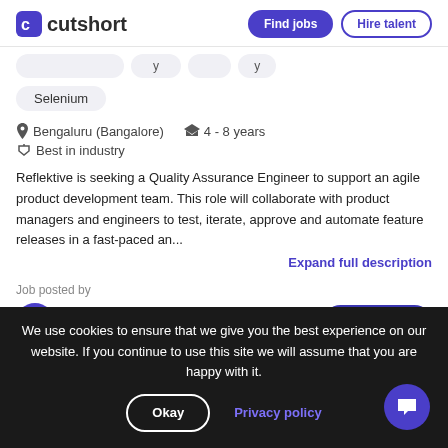cutshort | Find jobs | Hire talent
Selenium
Bengaluru (Bangalore)  4 - 8 years  Best in industry
Reflektive is seeking a Quality Assurance Engineer to support an agile product development team. This role will collaborate with product managers and engineers to test, iterate, approve and automate feature releases in a fast-paced an...
Expand full description
Job posted by
Payal Banchare
apply to job
We use cookies to ensure that we give you the best experience on our website. If you continue to use this site we will assume that you are happy with it.
Okay
Privacy policy